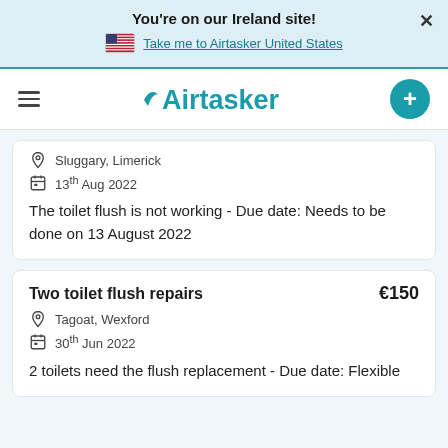You're on our Ireland site!
Take me to Airtasker United States
[Figure (logo): Airtasker logo with hamburger menu and plus button]
Sluggary, Limerick
13th Aug 2022
The toilet flush is not working - Due date: Needs to be done on 13 August 2022
Two toilet flush repairs
€150
Tagoat, Wexford
30th Jun 2022
2 toilets need the flush replacement - Due date: Flexible